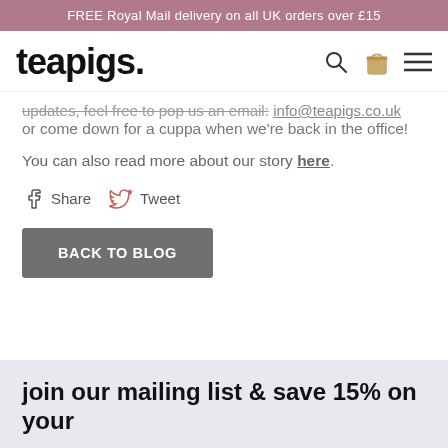FREE Royal Mail delivery on all UK orders over £15
[Figure (logo): teapigs. logo with search, bag, and menu icons]
updates, feel free to pop us an email: info@teapigs.co.uk or come down for a cuppa when we're back in the office!
You can also read more about our story here.
Share  Tweet
BACK TO BLOG
join our mailing list & save 15% on your